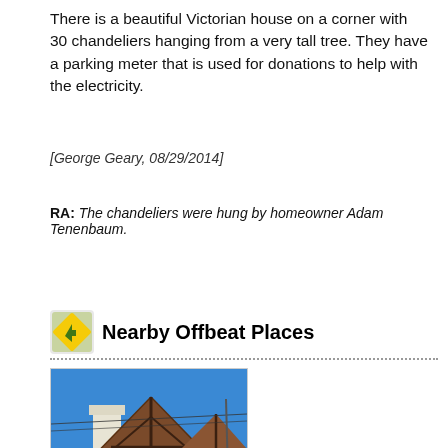There is a beautiful Victorian house on a corner with 30 chandeliers hanging from a very tall tree. They have a parking meter that is used for donations to help with the electricity.
[George Geary, 08/29/2014]
RA: The chandeliers were hung by homeowner Adam Tenenbaum.
Nearby Offbeat Places
[Figure (photo): Photo of a Tudor-style or storybook cottage with white stucco walls, dark brown timber framing on the roof gables, brown shingles, and a tall white chimney, set against a bright blue sky with power lines visible.]
Snow White Cottages, Los Angeles, CA - < 1 mi.